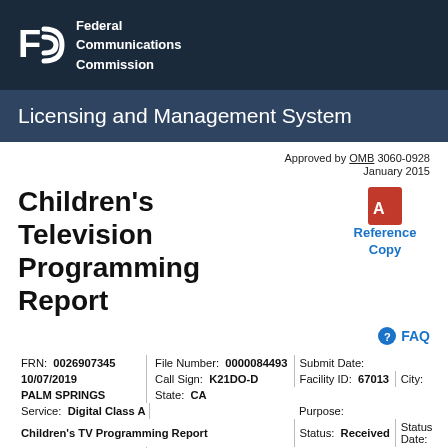Federal Communications Commission
Licensing and Management System
Approved by OMB 3060-0928
January 2015
Children's Television Programming Report
Reference Copy
FAQ
| Field | Value |
| --- | --- |
| FRN: | 0026907345 |
| File Number: | 0000084493 |
| Submit Date: | 10/07/2019 |
| Call Sign: | K21DO-D |
| Facility ID: | 67013 |
| City: | PALM SPRINGS |
| State: | CA |
| Service: | Digital Class A |
| Purpose: | Children's TV Programming Report |
| Status: | Received |
| Status Date: | 10/07/2019 |
| Filing Status: | Active |